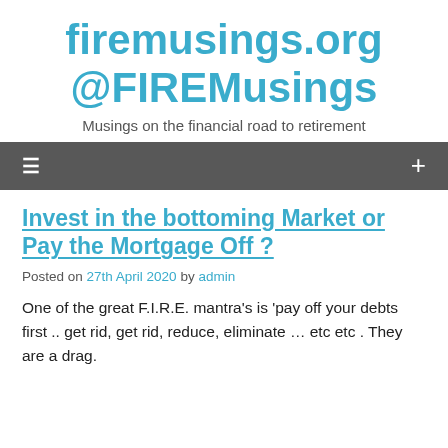firemusings.org
@FIREMusings
Musings on the financial road to retirement
≡  +
Invest in the bottoming Market or Pay the Mortgage Off ?
Posted on 27th April 2020 by admin
One of the great F.I.R.E. mantra's is 'pay off your debts first .. get rid, get rid, reduce, eliminate … etc etc . They are a drag.